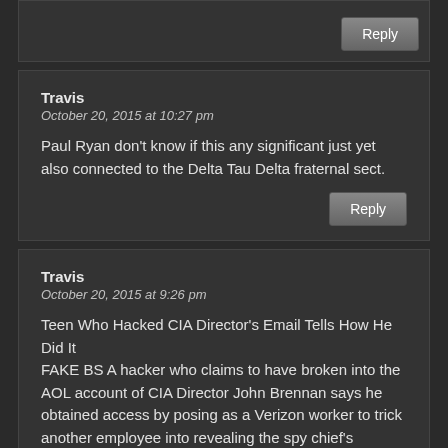[Reply button at top]
Travis
October 20, 2015 at 10:27 pm

Paul Ryan don't know if this any significant just yet also connected to the Delta Tau Delta fraternal sect.
[Reply button]
Travis
October 20, 2015 at 9:26 pm

Teen Who Hacked CIA Director's Email Tells How He Did It
FAKE BS A hacker who claims to have broken into the AOL account of CIA Director John Brennan says he obtained access by posing as a Verizon worker to trick another employee into revealing the spy chief's personal information.
Also Celtic Biden enter the presidential races
HMMM Jesuits GAMESMANSHIP